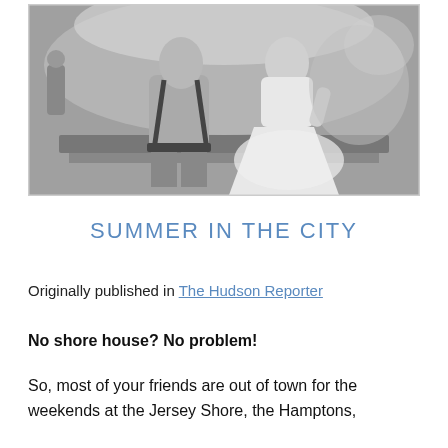[Figure (photo): Black and white photograph of a man and woman sitting at the edge of a fountain, with water splashing behind them. The man is shirtless and the woman wears a white dress. Other people are visible in the background.]
SUMMER IN THE CITY
Originally published in The Hudson Reporter
No shore house? No problem!
So, most of your friends are out of town for the weekends at the Jersey Shore, the Hamptons,